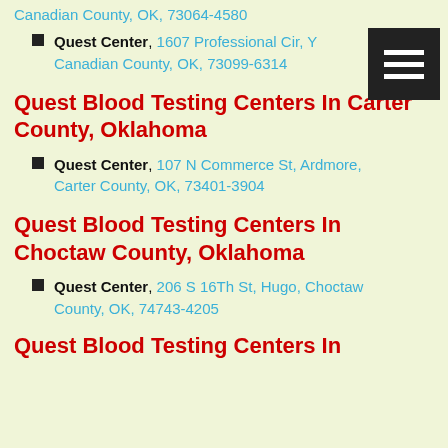Canadian County, OK, 73064-4580
Quest Center, 1607 Professional Cir, Y Canadian County, OK, 73099-6314
Quest Blood Testing Centers In Carter County, Oklahoma
Quest Center, 107 N Commerce St, Ardmore, Carter County, OK, 73401-3904
Quest Blood Testing Centers In Choctaw County, Oklahoma
Quest Center, 206 S 16Th St, Hugo, Choctaw County, OK, 74743-4205
Quest Blood Testing Centers In